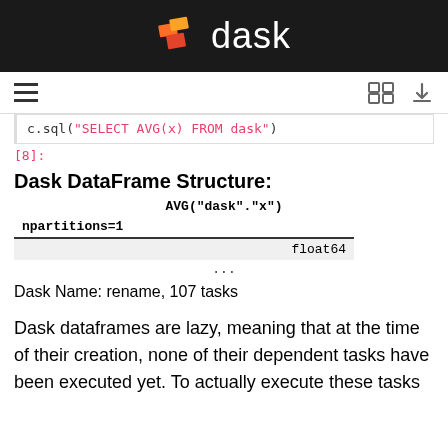dask
c.sql("SELECT AVG(x) FROM dask")
[8]:
Dask DataFrame Structure:
| AVG("dask"."x") |
| --- |
| npartitions=1 |
| float64 |
| ... |
Dask Name: rename, 107 tasks
Dask dataframes are lazy, meaning that at the time of their creation, none of their dependent tasks have been executed yet. To actually execute these tasks